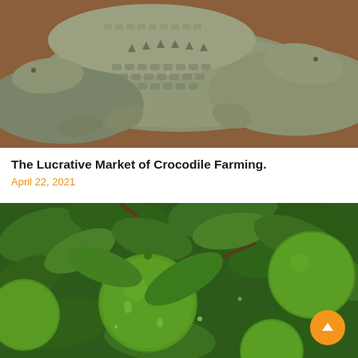[Figure (photo): Close-up photograph of multiple crocodiles lying together on reddish-brown ground, showing their scaly grey-brown skin and bodies piled on top of each other.]
The Lucrative Market of Crocodile Farming.
April 22, 2021
[Figure (photo): Close-up photograph of green limes hanging on a citrus tree branch surrounded by lush green leaves, with water droplets visible on the fruit.]